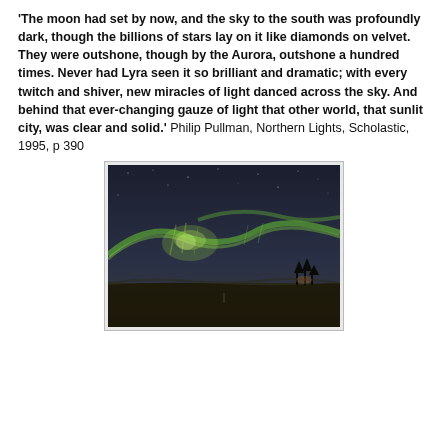'The moon had set by now, and the sky to the south was profoundly dark, though the billions of stars lay on it like diamonds on velvet. They were outshone, though by the Aurora, outshone a hundred times. Never had Lyra seen it so brilliant and dramatic; with every twitch and shiver, new miracles of light danced across the sky. And behind that ever-changing gauze of light that other world, that sunlit city, was clear and solid.' Philip Pullman, Northern Lights, Scholastic, 1995, p 390
[Figure (photo): Photograph of the Aurora Borealis (Northern Lights) over a dark landscape. Green aurora lights arc across a dark blue-grey sky, with a flat field and silhouetted trees visible on the horizon.]